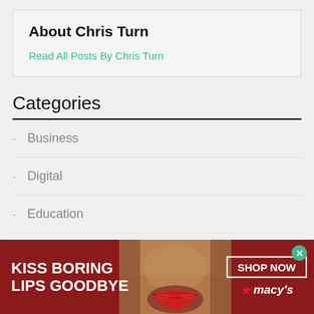About Chris Turn
Read All Posts By Chris Turn
Categories
Business
Digital
Education
Marketing
[Figure (infographic): Advertisement banner for Macy's with 'KISS BORING LIPS GOODBYE' text, photo of woman with red lipstick, and 'SHOP NOW' button with Macy's star logo]